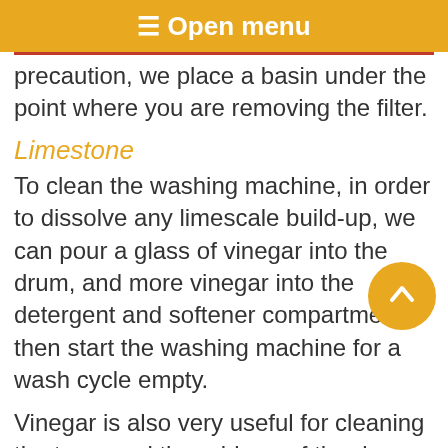≡ Open menu
precaution, we place a basin under the point where you are removing the filter.
Limestone
To clean the washing machine, in order to dissolve any limescale build-up, we can pour a glass of vinegar into the drum, and more vinegar into the detergent and softener compartment, then start the washing machine for a wash cycle empty.
Vinegar is also very useful for cleaning the trays and the rubbers of the door opening, if mold has already formed, with a mixture of water and vinegar.
Bad smells